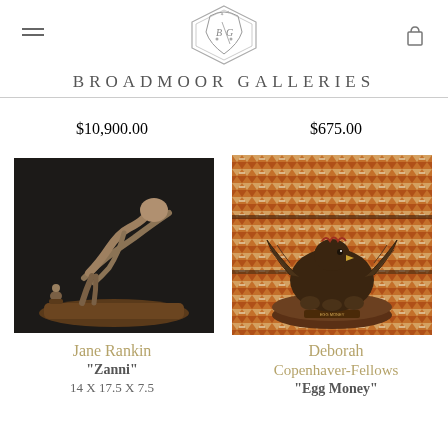Broadmoor Galleries
$10,900.00
$675.00
[Figure (photo): Sculpture by Jane Rankin titled Zanni, a bronze/wood figure leaning forward toward a small figure on a wooden base]
Jane Rankin
"Zanni"
14 X 17.5 X 7.5
[Figure (photo): Bronze sculpture by Deborah Copenhaver-Fellows titled Egg Money, depicting a hen with chicks on a wooden base, placed on a Native American woven textile background]
Deborah Copenhaver-Fellows
"Egg Money"